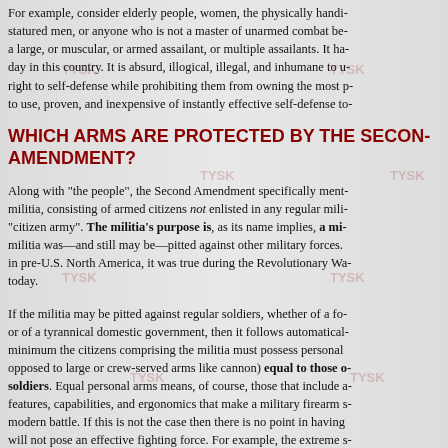For example, consider elderly people, women, the physically handi- statured men, or anyone who is not a master of unarmed combat be- a large, or muscular, or armed assailant, or multiple assailants. It ha- day in this country. It is absurd, illogical, illegal, and inhumane to u- right to self-defense while prohibiting them from owning the most p- to use, proven, and inexpensive of instantly effective self-defense to-
WHICH ARMS ARE PROTECTED BY THE SECOND AMENDMENT?
Along with "the people", the Second Amendment specifically ment- militia, consisting of armed citizens not enlisted in any regular mili- "citizen army". The militia's purpose is, as its name implies, a mi- militia was—and still may be—pitted against other military forces. in pre-U.S. North America, it was true during the Revolutionary Wa- today.
If the militia may be pitted against regular soldiers, whether of a fo- or of a tyrannical domestic government, then it follows automatical- minimum the citizens comprising the militia must possess personal opposed to large or crew-served arms like cannon) equal to those o- soldiers. Equal personal arms means, of course, those that include a- features, capabilities, and ergonomics that make a military firearm s- modern battle. If this is not the case then there is no point in having will not pose an effective fighting force. For example, the extreme s-